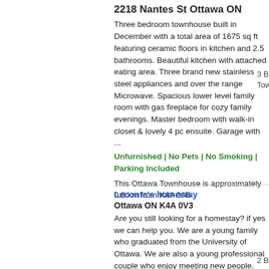2218 Nantes St Ottawa ON
Three bedroom townhouse built in December with a total area of 1675 sq ft featuring ceramic floors in kitchen and 2.5 bathrooms. Beautiful kitchen with attached eating area. Three brand new stainless steel appliances and over the range Microwave. Spacious lower level family room with gas fireplace for cozy family evenings. Master bedroom with walk-in closet & lovely 4 pc ensuite. Garage with ...
Unfurnished | No Pets | No Smoking | Parking Included
This Ottawa Townhouse is approximately 0.8 km from K4A 0A6
3 Bedroom Townhouse
Leconte's homestay
Ottawa ON K4A 0V3
Are you still looking for a homestay? if yes we can help you. We are a young family who graduated from the University of Ottawa. We are also a young professional couple who enjoy meeting new people. We have a 12 months old daughter, she's ...
2 Bedroom